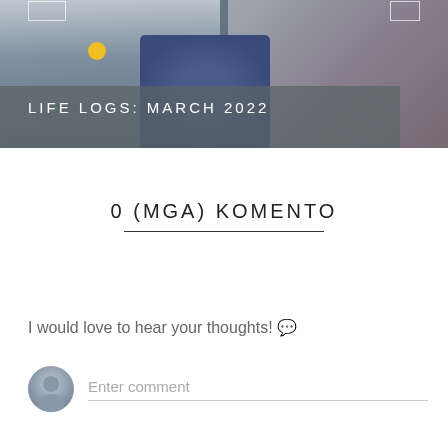[Figure (photo): Blog post thumbnail photo showing a video call screenshot with a person wearing blue, overlaid with semi-transparent bar containing text 'LIFE LOGS: MARCH 2022']
0 (MGA) KOMENTO
I would love to hear your thoughts! 💬
Enter comment